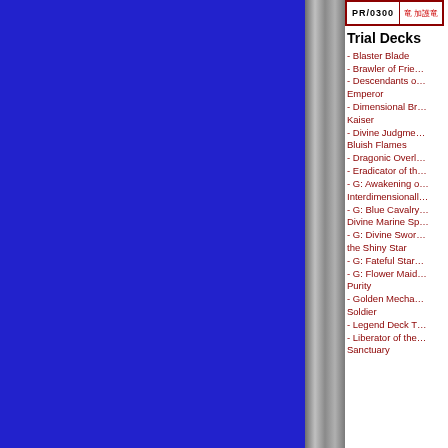Trial Decks
- Blaster Blade
- Brawler of Frie…
- Descendants o… Emperor
- Dimensional Br… Kaiser
- Divine Judgme… Bluish Flames
- Dragonic Overl…
- Eradicator of th…
- G: Awakening o… Interdimensionall…
- G: Blue Cavalry… Divine Marine Sp…
- G: Divine Swor… the Shiny Star
- G: Fateful Star…
- G: Flower Maid… Purity
- Golden Mecha… Soldier
- Legend Deck T…
- Liberator of the… Sanctuary
Follow us on Twitter! Releases, restocks, and more! >>
Watch on YouTube! Gameplay, tutorials, and strategy! >>
Watch the Cardfight!! Vanguard Anime for free on Crunchyroll! >>